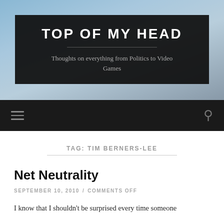TOP OF MY HEAD
Thoughts on everything from Politics to Video Games
[Figure (other): Navigation bar with hamburger menu icon on the left and search icon on the right, on dark background]
TAG: TIM BERNERS-LEE
Net Neutrality
SEPTEMBER 10, 2010 / COMMENTS OFF
I know that I shouldn't be surprised every time someone